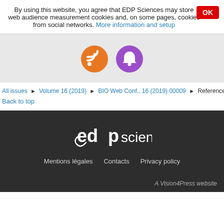By using this website, you agree that EDP Sciences may store web audience measurement cookies and, on some pages, cookies from social networks. More information and setup
[Figure (illustration): Two circular icon buttons: an orange RSS feed icon and a purple notification bell icon]
All issues ▶ Volume 16 (2019) ▶ BIO Web Conf., 16 (2019) 00009 ▶ References
Back to top
[Figure (logo): EDP Sciences logo in white on dark background]
Mentions légales   Contacts   Privacy policy
A Vision4Press website